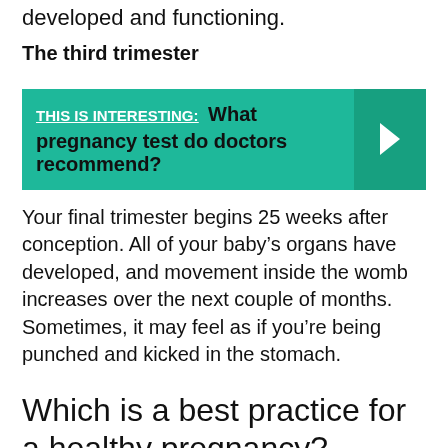developed and functioning.
The third trimester
[Figure (infographic): Teal callout box with label 'THIS IS INTERESTING:' and text 'What pregnancy test do doctors recommend?' with a right-arrow chevron on the right side.]
Your final trimester begins 25 weeks after conception. All of your baby’s organs have developed, and movement inside the womb increases over the next couple of months. Sometimes, it may feel as if you’re being punched and kicked in the stomach.
Which is a best practice for a healthy pregnancy?
Share This Article